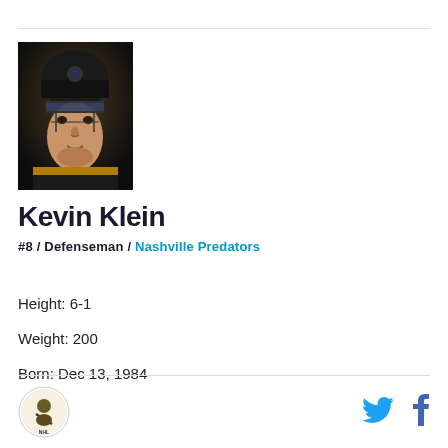[Figure (photo): Hockey player Kevin Klein wearing a black helmet and jersey, close-up face shot]
Kevin Klein
#8 / Defenseman / Nashville Predators
Height: 6-1
Weight: 200
Born: Dec 13, 1984
[Figure (logo): Nashville Predators NHL team logo]
[Figure (logo): Twitter bird icon]
[Figure (logo): Facebook f icon]